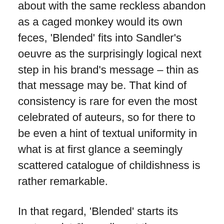about with the same reckless abandon as a caged monkey would its own feces, 'Blended' fits into Sandler's oeuvre as the surprisingly logical next step in his brand's message – thin as that message may be. That kind of consistency is rare for even the most celebrated of auteurs, so for there to be even a hint of textual uniformity in what is at first glance a seemingly scattered catalogue of childishness is rather remarkable.
In that regard, 'Blended' starts its protagonist Jim well past the portentous threat of responsibility that normally plagues Sandler's characters, by presenting him as a widower, a father of three daughters, and the manager of a Dick's Sporting Goods (because where there's Sandler, there's plenty of unnecessary